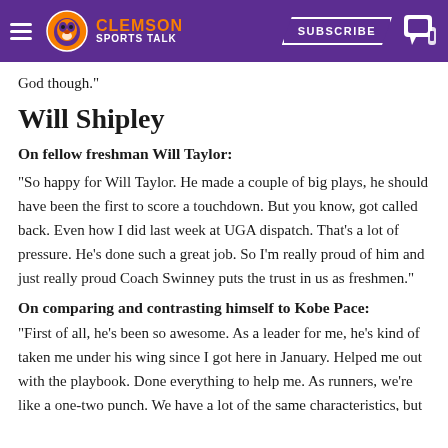Clemson Sports Talk — SUBSCRIBE
God though."
Will Shipley
On fellow freshman Will Taylor:
"So happy for Will Taylor. He made a couple of big plays, he should have been the first to score a touchdown. But you know, got called back. Even how I did last week at UGA dispatch. That's a lot of pressure. He's done such a great job. So I'm really proud of him and just really proud Coach Swinney puts the trust in us as freshmen."
On comparing and contrasting himself to Kobe Pace:
"First of all, he's been so awesome. As a leader for me, he's kind of taken me under his wing since I got here in January. Helped me out with the playbook. Done everything to help me. As runners, we're like a one-two punch. We have a lot of the same characteristics, but also